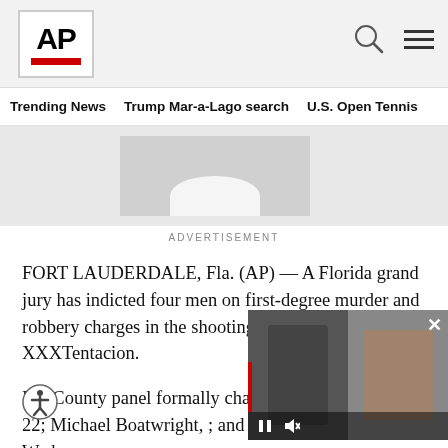AP
Trending News   Trump Mar-a-Lago search   U.S. Open Tennis
[Figure (other): Advertisement image area showing partial shirt/collar graphic]
ADVERTISEMENT
FORT LAUDERDALE, Fla. (AP) — A Florida grand jury has indicted four men on first-degree murder and robbery charges in the shooting death of rap star XXXTentacion.
Broward County panel formally charged Dedrick Williams, 22; Michael Boatwright, [age]; and Robert Allen, 22, on Wednesday
[Figure (photo): Video overlay showing police officers and a mugshot photo, with playback controls]